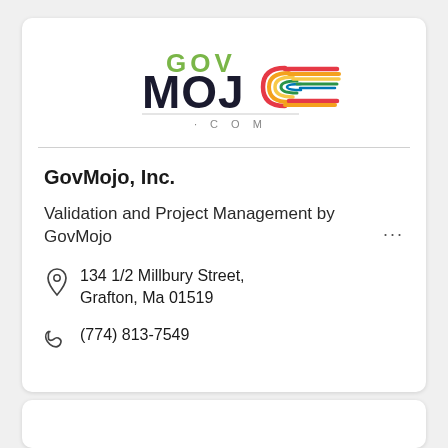[Figure (logo): GovMojo.com logo with green GOV text above dark MOJO text with colorful striped C, and dotted .COM below]
GovMojo, Inc.
Validation and Project Management by GovMojo
134 1/2 Millbury Street, Grafton, Ma 01519
(774) 813-7549